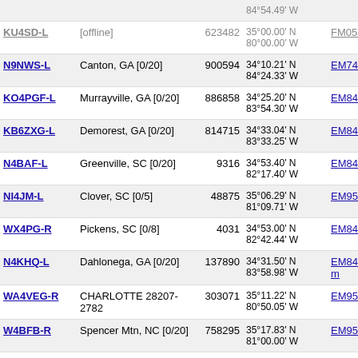| Callsign | Location | Node | Coordinates | Grid | Dist |  |
| --- | --- | --- | --- | --- | --- | --- |
|  |  |  | 84°54.49' W |  |  |  |
| KU4SD-L [offline] |  | 623482 | 35°00.00' N 80°00.00' W | FM05aa | 569.3 |  |
| N9NWS-L | Canton, GA [0/20] | 900594 | 34°10.21' N 84°24.33' W | EM74te | 569.5 |  |
| KO4PGF-L | Murrayville, GA [0/20] | 886858 | 34°25.20' N 83°54.30' W | EM84bk | 572.9 |  |
| KB6ZXG-L | Demorest, GA [0/20] | 814715 | 34°33.04' N 83°33.25' W | EM84fn | 573.7 |  |
| N4BAF-L | Greenville, SC [0/20] | 9316 | 34°53.40' N 82°17.40' W | EM84uv | 575.0 |  |
| NI4JM-L | Clover, SC [0/5] | 48875 | 35°06.29' N 81°09.71' W | EM95kc | 579.2 |  |
| WX4PG-R | Pickens, SC [0/8] | 4031 | 34°53.00' N 82°42.44' W | EM84pv | 580.4 | 443 |
| N4KHQ-L | Dahlonega, GA [0/20] | 137890 | 34°31.50' N 83°58.98' W | EM84am | 581.3 |  |
| WA4VEG-R | CHARLOTTE 28207-2782 | 303071 | 35°11.22' N 80°50.05' W | EM95ne | 583.3 | 446 |
| W4BFB-R | Spencer Mtn, NC [0/20] | 758295 | 35°17.83' N 81°00.00' W | EM95kh | 592.2 |  |